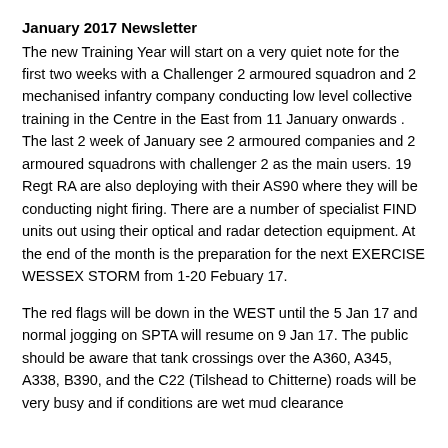January 2017 Newsletter
The new Training Year will start on a very quiet note for the first two weeks with a Challenger 2 armoured squadron and 2 mechanised infantry company conducting low level collective training in the Centre in the East from 11 January onwards . The last 2 week of January see 2 armoured companies and 2 armoured squadrons with challenger 2 as the main users. 19 Regt RA are also deploying with their AS90 where they will be conducting night firing. There are a number of specialist FIND units out using their optical and radar detection equipment. At the end of the month is the preparation for the next EXERCISE WESSEX STORM from 1-20 Febuary 17.
The red flags will be down in the WEST until the 5 Jan 17 and normal jogging on SPTA will resume on 9 Jan 17. The public should be aware that tank crossings over the A360, A345, A338, B390, and the C22 (Tilshead to Chitterne) roads will be very busy and if conditions are wet mud clearance